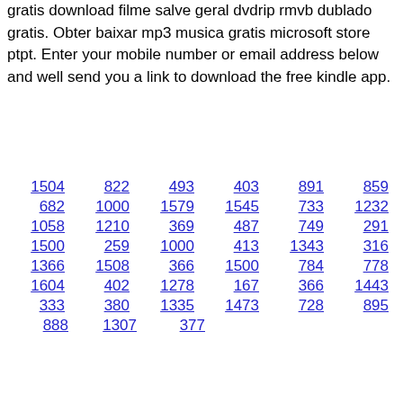gratis download filme salve geral dvdrip rmvb dublado gratis. Obter baixar mp3 musica gratis microsoft store ptpt. Enter your mobile number or email address below and well send you a link to download the free kindle app.
1504  822  493  403  891  859
682  1000  1579  1545  733  1232
1058  1210  369  487  749  291
1500  259  1000  413  1343  316
1366  1508  366  1500  784  778
1604  402  1278  167  366  1443
333  380  1335  1473  728  895
888  1307  377